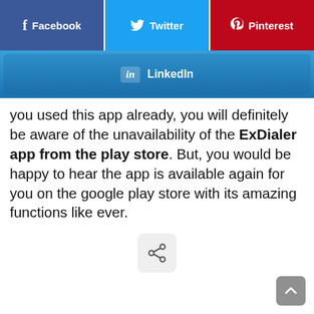[Figure (screenshot): Social share buttons: Facebook (blue), Twitter (light blue), Pinterest (red)]
[Figure (screenshot): LinkedIn share button bar]
you used this app already, you will definitely be aware of the unavailability of the ExDialer app from the play store. But, you would be happy to hear the app is available again for you on the google play store with its amazing functions like ever.
[Figure (other): Share icon button]
[Figure (other): Back to top arrow button]